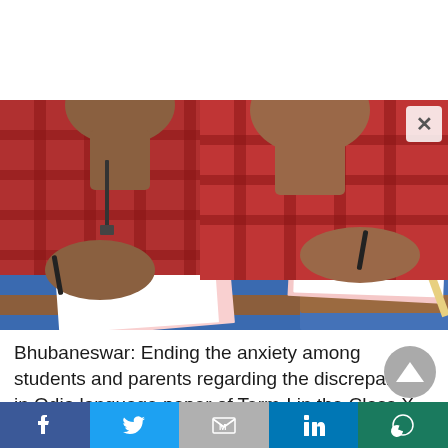[Figure (photo): Two students in red checked uniforms writing at blue school desks during an examination]
Bhubaneswar: Ending the anxiety among students and parents regarding the discrepancy in Odia language paper of Term-I in the Class X examination conducted by CBSE, the Board has awarded full marks to all the students.